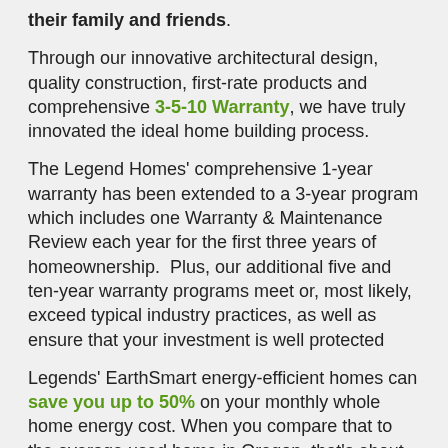their family and friends.
Through our innovative architectural design, quality construction, first-rate products and comprehensive 3-5-10 Warranty, we have truly innovated the ideal home building process.
The Legend Homes' comprehensive 1-year warranty has been extended to a 3-year program which includes one Warranty & Maintenance Review each year for the first three years of homeownership.  Plus, our additional five and ten-year warranty programs meet or, most likely, exceed typical industry practices, as well as ensure that your investment is well protected
Legends' EarthSmart energy-efficient homes can save you up to 50% on your monthly whole home energy cost. When you compare that to the average used home in Oregon, that's about 95 bucks a month.